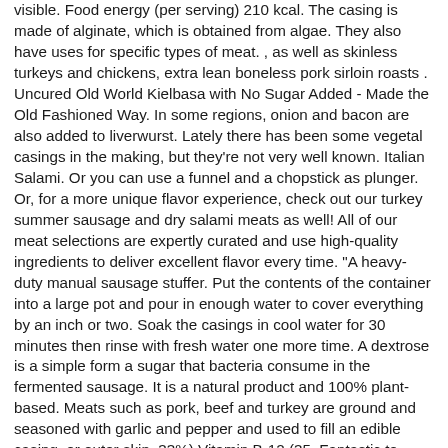visible. Food energy (per serving) 210 kcal. The casing is made of alginate, which is obtained from algae. They also have uses for specific types of meat. , as well as skinless turkeys and chickens, extra lean boneless pork sirloin roasts . Uncured Old World Kielbasa with No Sugar Added - Made the Old Fashioned Way. In some regions, onion and bacon are also added to liverwurst. Lately there has been some vegetal casings in the making, but they're not very well known. Italian Salami. Or you can use a funnel and a chopstick as plunger. Or, for a more unique flavor experience, check out our turkey summer sausage and dry salami meats as well! All of our meat selections are expertly curated and use high-quality ingredients to deliver excellent flavor every time. "A heavy-duty manual sausage stuffer. Put the contents of the container into a large pot and pour in enough water to cover everything by an inch or two. Soak the casings in cool water for 30 minutes then rinse with fresh water one more time. A dextrose is a simple form a sugar that bacteria consume in the fermented sausage. It is a natural product and 100% plant-based. Meats such as pork, beef and turkey are ground and seasoned with garlic and pepper and used to fill an edible casing, or outer skin. 33%) Vitamin B-12 (35. Fantastic to make venison and other wild game sausages. Squeeze and roll the dough into sausage shapes. Place this in the refrigerator. Choose fresh sausages for a start, and check the list of ingredients: the fewer the better. Recommended for You. Add 2 tablespoons of salt per 1 pound of ground meat as a rule. Most sausages are made from pork, beef, or veal. Place the ground